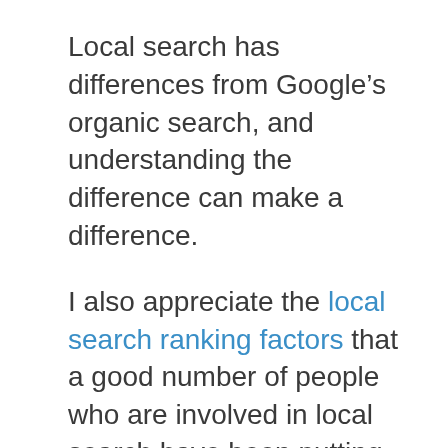Local search has differences from Google’s organic search, and understanding the difference can make a difference.
I also appreciate the local search ranking factors that a good number of people who are involved in local search have been putting together every year lately, but I’m also a little apprehensive about those, and I’m going to illustrate why with this post. Imagine for instance that Google considers local business names in the way that it ranks those businesses in local search, but that it doesn’t treat all local business names the same. For example, “Frost Diner” might be treated one way by Google Local Search.